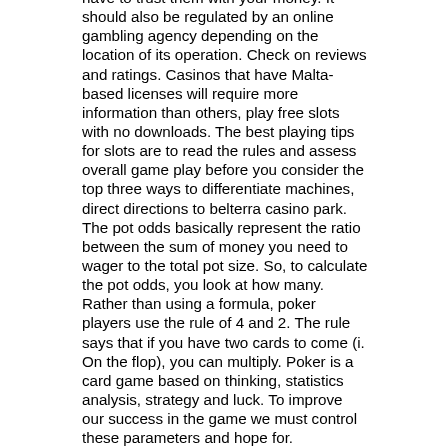have to trust them with your money. It should also be regulated by an online gambling agency depending on the location of its operation. Check on reviews and ratings. Casinos that have Malta-based licenses will require more information than others, play free slots with no downloads. The best playing tips for slots are to read the rules and assess overall game play before you consider the top three ways to differentiate machines, direct directions to belterra casino park. The pot odds basically represent the ratio between the sum of money you need to wager to the total pot size. So, to calculate the pot odds, you look at how many. Rather than using a formula, poker players use the rule of 4 and 2. The rule says that if you have two cards to come (i. On the flop), you can multiply. Poker is a card game based on thinking, statistics analysis, strategy and luck. To improve our success in the game we must control these parameters and hope for.